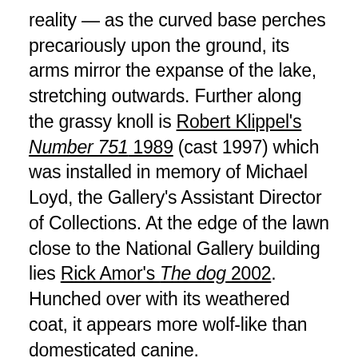reality — as the curved base perches precariously upon the ground, its arms mirror the expanse of the lake, stretching outwards. Further along the grassy knoll is Robert Klippel's Number 751 1989 (cast 1997) which was installed in memory of Michael Loyd, the Gallery's Assistant Director of Collections. At the edge of the lawn close to the National Gallery building lies Rick Amor's The dog 2002. Hunched over with its weathered coat, it appears more wolf-like than domesticated canine.